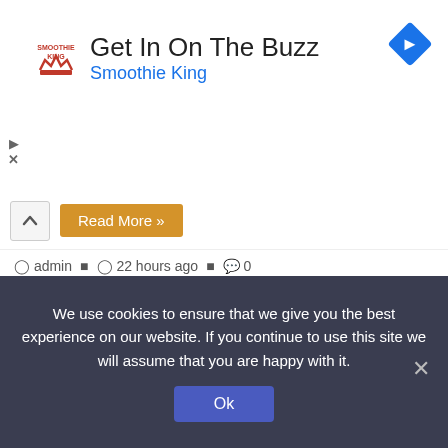[Figure (other): Advertisement banner for Smoothie King with logo, text 'Get In On The Buzz' and 'Smoothie King', navigation arrow icon, play and close controls]
admin  22 hours ago  0
Reigning All-Ireland holder Cormac Finn from Sligo into another handball decider with a familiar rival
Nothing sells sport like rivalries and the meeting of Cormac Finn Sligo and Kyle Jordan Kilkenny in the Minor Softball…
Read More »
We use cookies to ensure that we give you the best experience on our website. If you continue to use this site we will assume that you are happy with it.
Ok